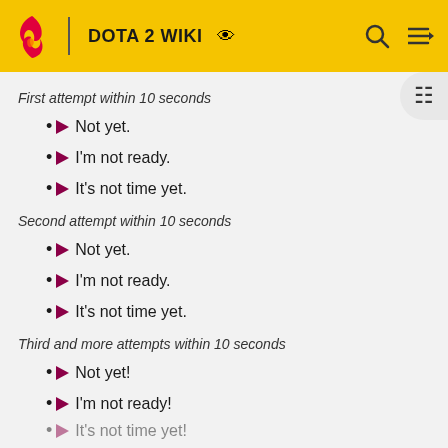DOTA 2 WIKI
First attempt within 10 seconds
Not yet.
I'm not ready.
It's not time yet.
Second attempt within 10 seconds
Not yet.
I'm not ready.
It's not time yet.
Third and more attempts within 10 seconds
Not yet!
I'm not ready!
It's not time yet!